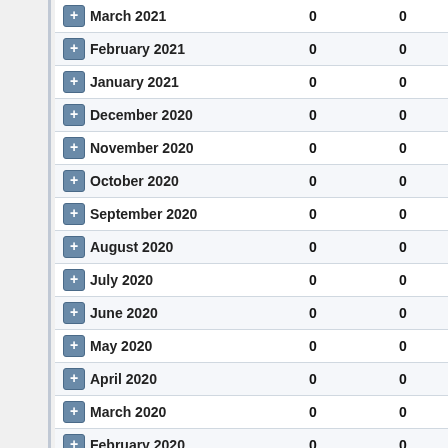| Month | Col1 | Col2 |
| --- | --- | --- |
| March 2021 | 0 | 0 |
| February 2021 | 0 | 0 |
| January 2021 | 0 | 0 |
| December 2020 | 0 | 0 |
| November 2020 | 0 | 0 |
| October 2020 | 0 | 0 |
| September 2020 | 0 | 0 |
| August 2020 | 0 | 0 |
| July 2020 | 0 | 0 |
| June 2020 | 0 | 0 |
| May 2020 | 0 | 0 |
| April 2020 | 0 | 0 |
| March 2020 | 0 | 0 |
| February 2020 | 0 | 0 |
| January 2020 | 0 | 0 |
| December 2019 | 0 | 0 |
| November 2019 | 0 | 0 |
| October 2019 | 0 | 0 |